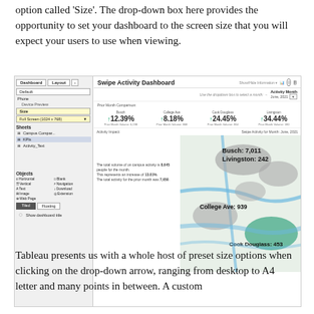option called 'Size'. The drop-down box here provides the opportunity to set your dashboard to the screen size that you will expect your users to use when viewing.
[Figure (screenshot): Screenshot of Tableau dashboard editing interface showing the Dashboard and Layout panel on the left with Size set to 'Full Screen (1024 x 768)', and a Swipe Activity Dashboard on the right with KPI metrics (Busch 12.39%, College Ave 8.18%, Cook Douglass 24.45%, Livingston 34.44%) and a map showing campus activity for June 2021.]
Tableau presents us with a whole host of preset size options when clicking on the drop-down arrow, ranging from desktop to A4 letter and many points in between. A custom